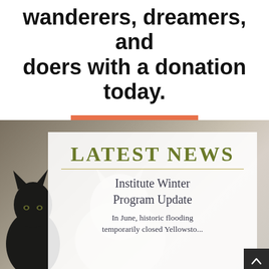wanderers, dreamers, and doers with a donation today.
GIVE NOW
LATEST NEWS
Institute Winter Program Update
In June, historic flooding temporarily closed Yellowstone